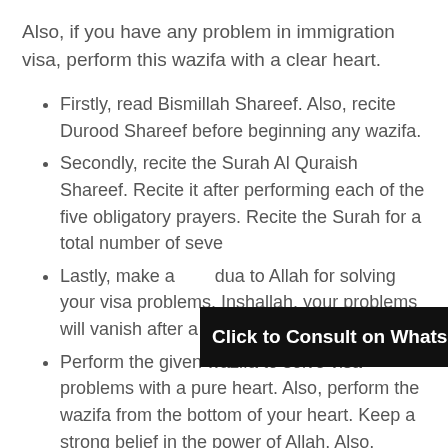Also, if you have any problem in immigration visa, perform this wazifa with a clear heart.
Firstly, read Bismillah Shareef. Also, recite Durood Shareef before beginning any wazifa.
Secondly, recite the Surah Al Quraish Shareef. Recite it after performing each of the five obligatory prayers. Recite the Surah for a total number of seven times.
Lastly, make a dua to Allah for solving your visa problems. Inshallah, your problems will vanish after a few days.
Perform the given wazifa to solve visa problems with a pure heart. Also, perform the wazifa from the bottom of your heart. Keep a strong belief in the power of Allah. Also, believe in your dua. Inshallah, Almighty will fulfil the requirement. Also, Allah will take…